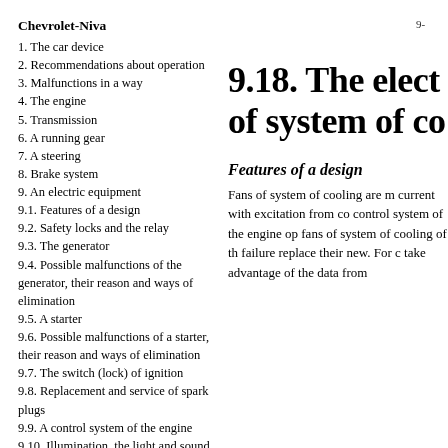Chevrolet-Niva
1. The car device
2. Recommendations about operation
3. Malfunctions in a way
4. The engine
5. Transmission
6. A running gear
7. A steering
8. Brake system
9. An electric equipment
9.1. Features of a design
9.2. Safety locks and the relay
9.3. The generator
9.4. Possible malfunctions of the generator, their reason and ways of elimination
9.5. A starter
9.6. Possible malfunctions of a starter, their reason and ways of elimination
9.7. The switch (lock) of ignition
9.8. Replacement and service of spark plugs
9.9. A control system of the engine
9.10. Illumination, the light and sound alarm system
9.11. Possible malfunctions of...
9.18. The elect of system of co
Features of a design
Fans of system of cooling are m current with excitation from co control system of the engine op fans of system of cooling of th failure replace their new. For c take advantage of the data from